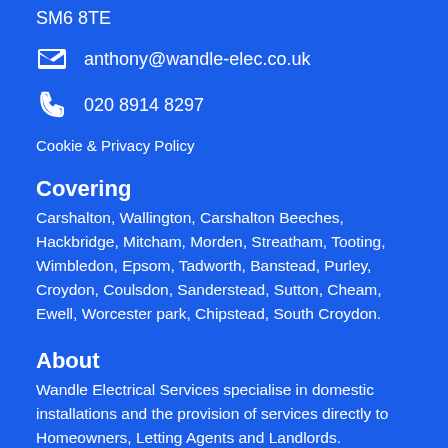SM6 8TE
anthony@wandle-elec.co.uk
020 8914 8297
Cookie & Privacy Policy
Covering
Carshalton, Wallington, Carshalton Beeches, Hackbridge, Mitcham, Morden, Streatham, Tooting, Wimbledon, Epsom, Tadworth, Banstead, Purley, Croydon, Coulsdon, Sanderstead, Sutton, Cheam, Ewell, Worcester park, Chipstead, South Croydon.
About
Wandle Electrical Services specialise in domestic installations and the provision of services directly to Homeowners, Letting Agents and Landlords.
You can also ask me questions about electrical home heating over on my Wise Warmth site.